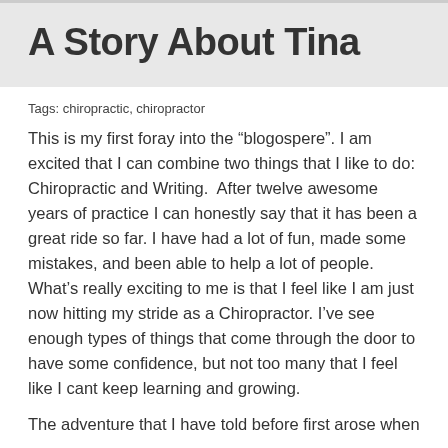A Story About Tina
Tags: chiropractic, chiropractor
This is my first foray into the “blogospere”. I am excited that I can combine two things that I like to do: Chiropractic and Writing.  After twelve awesome years of practice I can honestly say that it has been a great ride so far. I have had a lot of fun, made some mistakes, and been able to help a lot of people. What’s really exciting to me is that I feel like I am just now hitting my stride as a Chiropractor. I’ve see enough types of things that come through the door to have some confidence, but not too many that I feel like I cant keep learning and growing.
The adventure that I have told before first arose when...